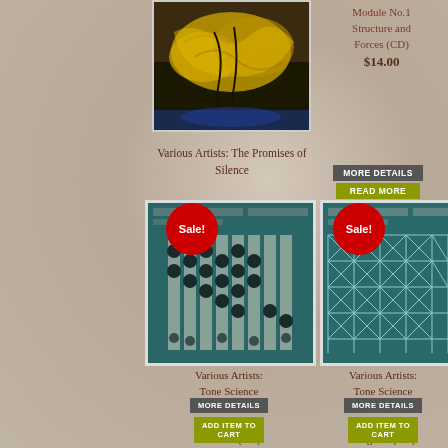[Figure (photo): Album cover photo showing yellow/golden textured organic material]
Module No.1 Structure and Forces (CD)
$14.00
Various Artists: The Promises of Silence
[Figure (photo): Button: MORE DETAILS (dark grey)]
[Figure (photo): Button: READ MORE (olive/yellow-green)]
[Figure (illustration): Album artwork for Tone Science Module No.2 - teal background with circles and rectangles pattern. Sale! badge in red circle.]
[Figure (illustration): Album artwork for Tone Science Module No.3 - teal background with geometric triangular grid pattern. Sale! badge in red circle.]
Various Artists: Tone Science Module No.2 Elements And Particles (CD)
$14.00 $10.00
Various Artists: Tone Science Module No.3 Cosines And Tangents (CD)
$14.00 $10.00
MORE DETAILS
ADD ITEM TO CART
MORE DETAILS
ADD ITEM TO CART